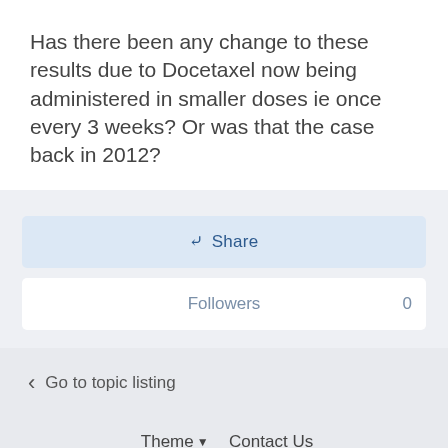Has there been any change to these results due to Docetaxel now being administered in smaller doses ie once every 3 weeks? Or was that the case back in 2012?
Share
Followers 0
Go to topic listing
Theme ▾  Contact Us
Powered by Invision Community